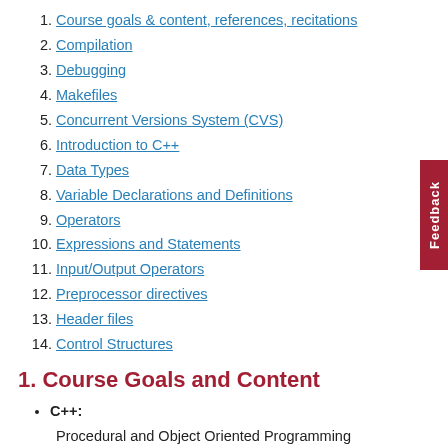1. Course goals & content, references, recitations
2. Compilation
3. Debugging
4. Makefiles
5. Concurrent Versions System (CVS)
6. Introduction to C++
7. Data Types
8. Variable Declarations and Definitions
9. Operators
10. Expressions and Statements
11. Input/Output Operators
12. Preprocessor directives
13. Header files
14. Control Structures
1. Course Goals and Content
C++:
Procedural and Object Oriented Programming